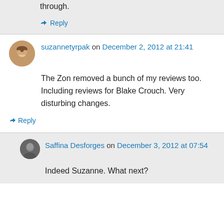through.
↳ Reply
suzannetyrpak on December 2, 2012 at 21:41
The Zon removed a bunch of my reviews too. Including reviews for Blake Crouch. Very disturbing changes.
↳ Reply
Saffina Desforges on December 3, 2012 at 07:54
Indeed Suzanne. What next?